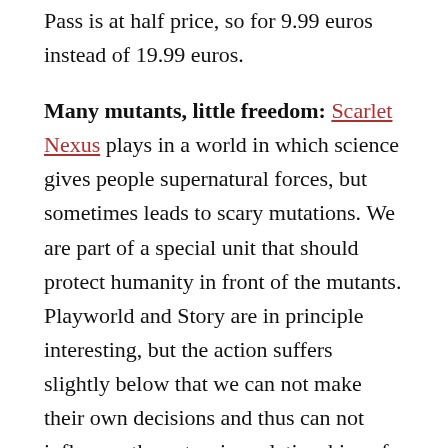Pass is at half price, so for 9.99 euros instead of 19.99 euros.
Many mutants, little freedom: Scarlet Nexus plays in a world in which science gives people supernatural forces, but sometimes leads to scary mutations. We are part of a special unit that should protect humanity in front of the mutants. Playworld and Story are in principle interesting, but the action suffers slightly below that we can not make their own decisions and thus can not influence the extensive relationships of team members set in scene.
Great Hack & Slash Fights: Allso more spectacular are the fighting in Hack & Slash style, in which we